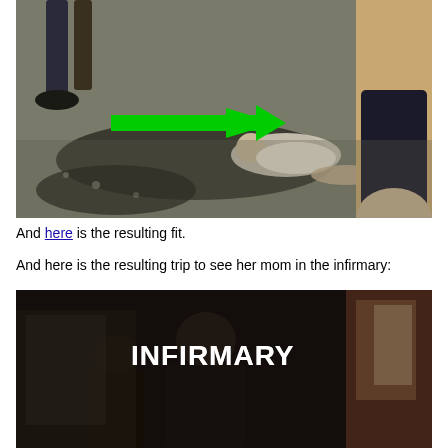[Figure (photo): Outdoor scene showing a person lying on the ground/grass with a green arrow pointing at them. Other people's legs visible standing nearby. Black and white/desaturated photo with green arrow annotation.]
And here is the resulting fit.
And here is the resulting trip to see her mom in the infirmary:
[Figure (screenshot): Dark video screenshot showing people near a building entrance with the text 'INFIRMARY' overlaid in bold white capital letters.]